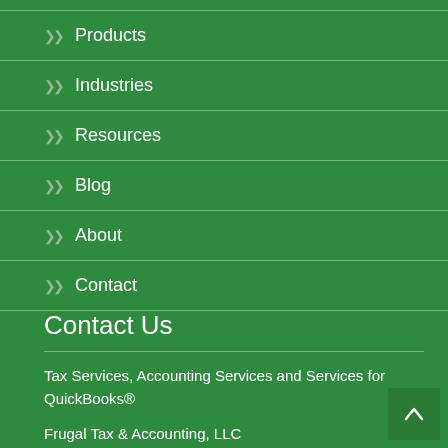Products
Industries
Resources
Blog
About
Contact
Contact Us
Tax Services, Accounting Services and Services for QuickBooks®
Frugal Tax & Accounting, LLC
PO Box 741